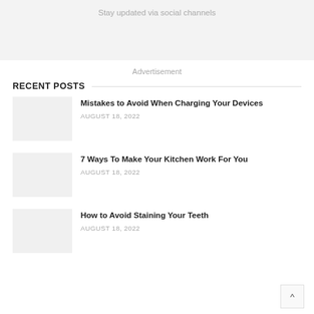Stay updated via social channels
Advertisement
RECENT POSTS
Mistakes to Avoid When Charging Your Devices
AUGUST 18, 2022
7 Ways To Make Your Kitchen Work For You
AUGUST 18, 2022
How to Avoid Staining Your Teeth
AUGUST 18, 2022